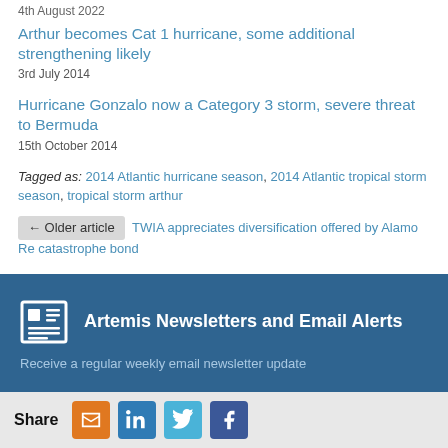4th August 2022
Arthur becomes Cat 1 hurricane, some additional strengthening likely
3rd July 2014
Hurricane Gonzalo now a Category 3 storm, severe threat to Bermuda
15th October 2014
Tagged as: 2014 Atlantic hurricane season, 2014 Atlantic tropical storm season, tropical storm arthur
← Older article  TWIA appreciates diversification offered by Alamo Re catastrophe bond
Artemis Newsletters and Email Alerts
Receive a regular weekly email newsletter update